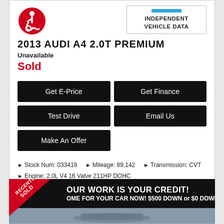[Figure (logo): Independent Vehicle Data logo with blue bar and text]
2013 AUDI A4 2.0T PREMIUM
Unavailable
Sold
Get E-Price
Get Finance
Test Drive
Email Us
Make An Offer
Stock Num: 033419   Mileage: 89,142   Transmission: CVT
Engine: 2.0L V4 16 Valve 211HP DOHC
[Figure (photo): Recently Sold badge over dealership banner reading YOUR WORK IS YOUR CREDIT! COME FOR YOUR CAR NOW! $500 DOWN or $0 DOWN O.A.C. with car photo below]